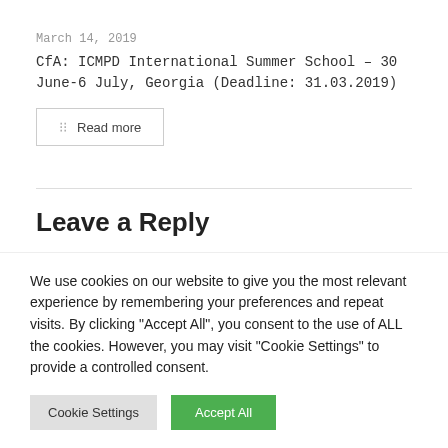March 14, 2019
CfA: ICMPD International Summer School – 30 June-6 July, Georgia (Deadline: 31.03.2019)
Read more
Leave a Reply
Your email address will not be published. Required fields are
We use cookies on our website to give you the most relevant experience by remembering your preferences and repeat visits. By clicking "Accept All", you consent to the use of ALL the cookies. However, you may visit "Cookie Settings" to provide a controlled consent.
Cookie Settings
Accept All